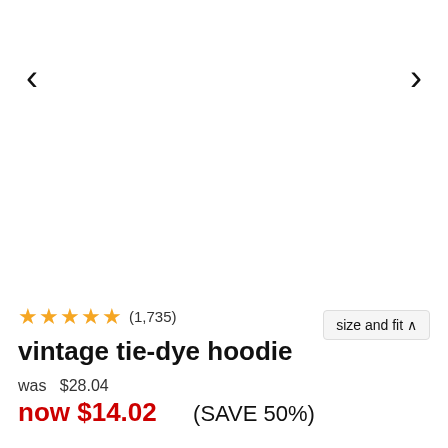[Figure (other): Left navigation arrow for image carousel]
[Figure (other): Right navigation arrow for image carousel]
size and fit ∧
★★★★★ (1,735)
vintage tie-dye hoodie
was  $28.04
now $14.02    (SAVE 50%)